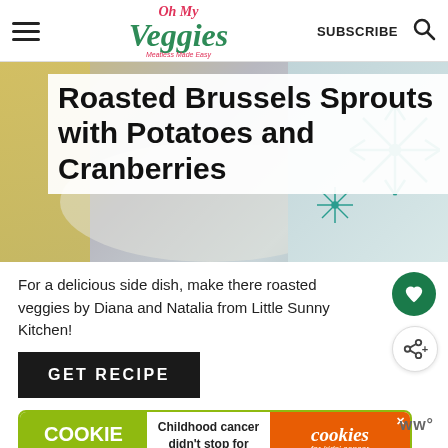Oh My Veggies - Meatless Made Easy | SUBSCRIBE
[Figure (photo): Hero image showing holiday/winter themed background with decorative snowflakes and warm tones, with the article title overlay]
Roasted Brussels Sprouts with Potatoes and Cranberries
For a delicious side dish, make there roasted veggies by Diana and Natalia from Little Sunny Kitchen!
GET RECIPE
[Figure (infographic): Cookie Dough advertisement banner: 'Childhood cancer didn't stop for COVID-19. GET BAKING - cookies for kids' cancer']